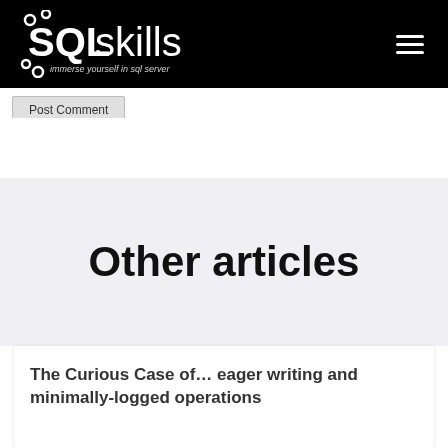[Figure (logo): SQLskills logo with text 'SQLskills immerse yourself in sql server' on black background with hamburger menu icon]
Post Comment
Other articles
The Curious Case of… eager writing and minimally-logged operations